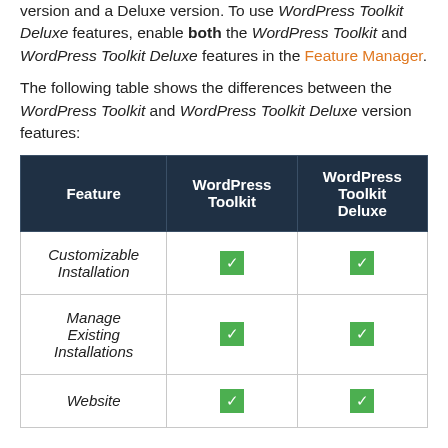version and a Deluxe version. To use WordPress Toolkit Deluxe features, enable both the WordPress Toolkit and WordPress Toolkit Deluxe features in the Feature Manager.
The following table shows the differences between the WordPress Toolkit and WordPress Toolkit Deluxe version features:
| Feature | WordPress Toolkit | WordPress Toolkit Deluxe |
| --- | --- | --- |
| Customizable Installation | ✓ | ✓ |
| Manage Existing Installations | ✓ | ✓ |
| Website | ✓ | ✓ |